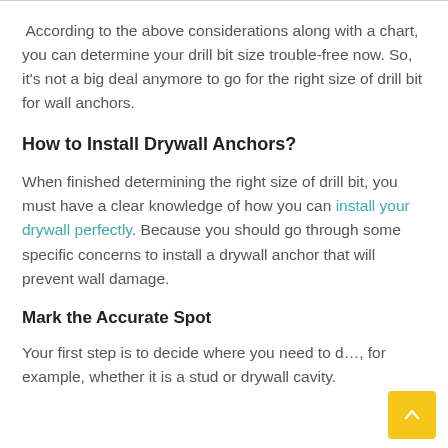According to the above considerations along with a chart, you can determine your drill bit size trouble-free now. So, it's not a big deal anymore to go for the right size of drill bit for wall anchors.
How to Install Drywall Anchors?
When finished determining the right size of drill bit, you must have a clear knowledge of how you can install your drywall perfectly. Because you should go through some specific concerns to install a drywall anchor that will prevent wall damage.
Mark the Accurate Spot
Your first step is to decide where you need to d…, for example, whether it is a stud or drywall cavity.